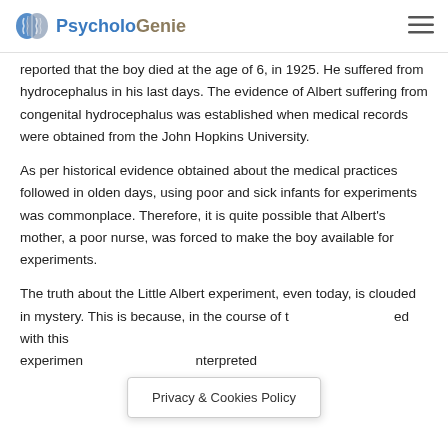PsycholoGenie
reported that the boy died at the age of 6, in 1925. He suffered from hydrocephalus in his last days. The evidence of Albert suffering from congenital hydrocephalus was established when medical records were obtained from the John Hopkins University.
As per historical evidence obtained about the medical practices followed in olden days, using poor and sick infants for experiments was commonplace. Therefore, it is quite possible that Albert's mother, a poor nurse, was forced to make the boy available for experiments.
The truth about the Little Albert experiment, even today, is clouded in mystery. This is because, in the course of [text obscured] with this experiment [text obscured] interpreted
Privacy & Cookies Policy